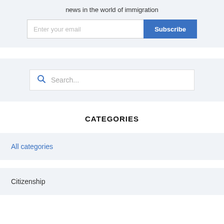news in the world of immigration
[Figure (screenshot): Email subscription form with text input and blue Subscribe button]
[Figure (screenshot): Search box with magnifying glass icon and placeholder text Search...]
CATEGORIES
All categories
Citizenship